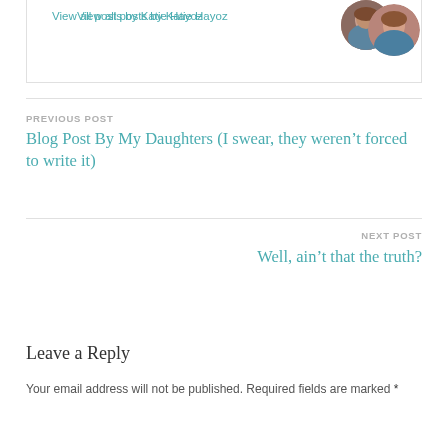View all posts by Katie Hayoz
[Figure (photo): Circular avatar photo of Katie Hayoz, a woman with reddish-brown hair]
PREVIOUS POST
Blog Post By My Daughters (I swear, they weren't forced to write it)
NEXT POST
Well, ain’t that the truth?
Leave a Reply
Your email address will not be published. Required fields are marked *